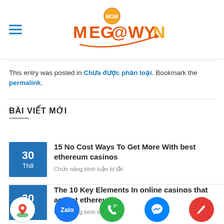[Figure (logo): Mega@wyn logo with orange/red branding and gold coin icon above]
This entry was posted in Chưa được phân loại. Bookmark the permalink.
BÀI VIẾT MỚI
30 Th8 — 15 No Cost Ways To Get More With best ethereum casinos — Chức năng bình luận bị tắt
30 Th8 — The 10 Key Elements In online casinos that accept ethereum — Chức năng bình luận bị tắt